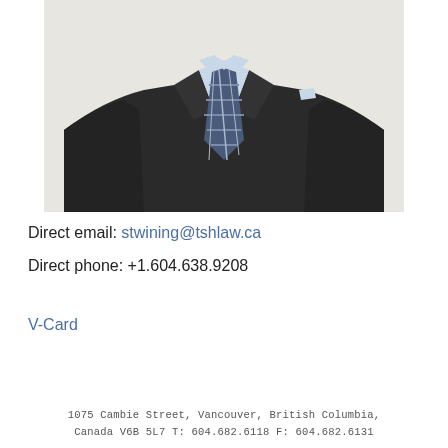[Figure (photo): Professional headshot photo showing a person in a dark suit with a blue plaid tie and light blue dress shirt, torso visible from chest up, white background]
Direct email: stwining@tshlaw.ca
Direct phone: +1.604.638.9208
V-Card
1075 Cambie Street, Vancouver, British Columbia, Canada V6B 5L7 T: 604.682.6118 F: 604.682.6131